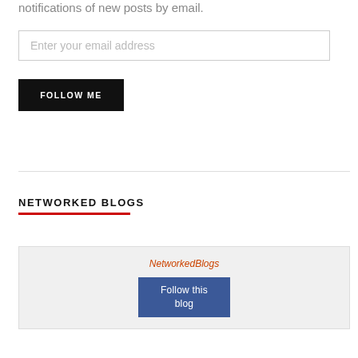notifications of new posts by email.
Enter your email address
FOLLOW ME
NETWORKED BLOGS
[Figure (other): NetworkedBlogs widget with logo image placeholder and 'Follow this blog' button]
Follow this blog